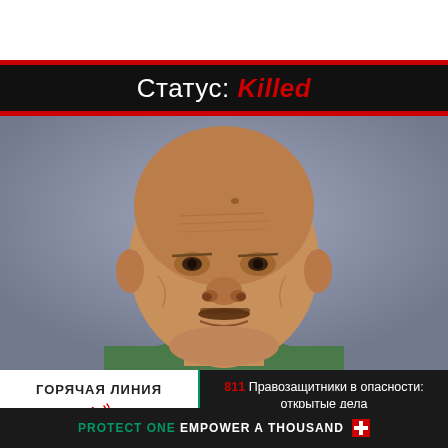Статус: Killed
[Figure (photo): Headshot portrait of an older bald man with a mustache wearing a green collar shirt, against a blue-grey background.]
ГОРЯЧАЯ ЛИНИЯ
811 Правозащитники в опасности: открытые дела
PROTECT ONE EMPOWER A THOUSAND